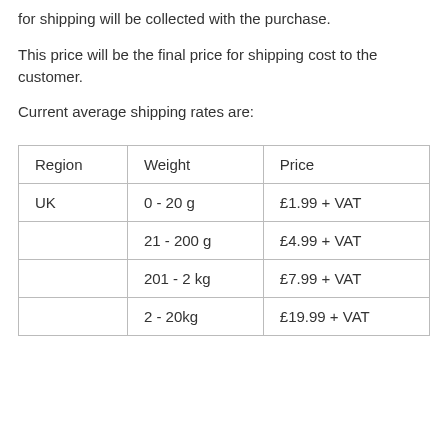for shipping will be collected with the purchase.
This price will be the final price for shipping cost to the customer.
Current average shipping rates are:
| Region | Weight | Price |
| --- | --- | --- |
| UK | 0 - 20 g | £1.99 + VAT |
|  | 21 - 200 g | £4.99 + VAT |
|  | 201 - 2 kg | £7.99 + VAT |
|  | 2 - 20kg | £19.99 + VAT |